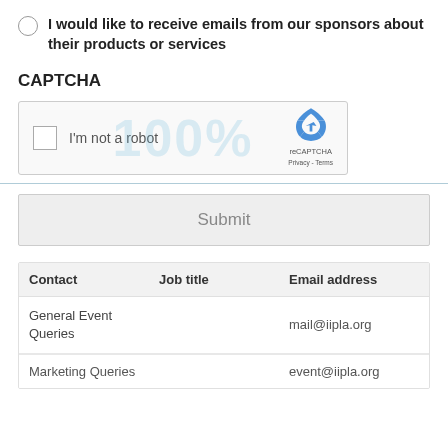I would like to receive emails from our sponsors about their products or services
CAPTCHA
[Figure (screenshot): reCAPTCHA widget showing a checkbox labeled 'I'm not a robot' with the reCAPTCHA logo and Privacy/Terms links, overlaid with a '100%' watermark]
Submit
| Contact | Job title | Email address |
| --- | --- | --- |
| General Event Queries |  | mail@iipla.org |
| Marketing Queries |  | event@iipla.org |